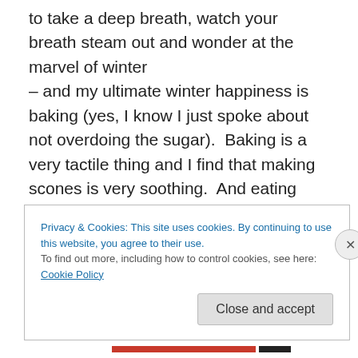to take a deep breath, watch your breath steam out and wonder at the marvel of winter – and my ultimate winter happiness is baking (yes, I know I just spoke about not overdoing the sugar).  Baking is a very tactile thing and I find that making scones is very soothing.  And eating warm scones with dollops of jam is even more soothing!  The softness of the flour when you rub the butter in, the release of tension when you're kneading the dough…
Privacy & Cookies: This site uses cookies. By continuing to use this website, you agree to their use.
To find out more, including how to control cookies, see here: Cookie Policy
Close and accept